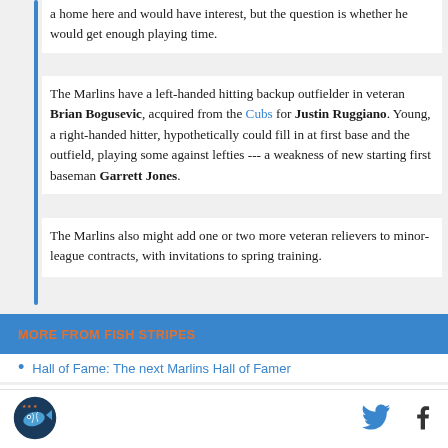a home here and would have interest, but the question is whether he would get enough playing time.
The Marlins have a left-handed hitting backup outfielder in veteran Brian Bogusevic, acquired from the Cubs for Justin Ruggiano. Young, a right-handed hitter, hypothetically could fill in at first base and the outfield, playing some against lefties --- a weakness of new starting first baseman Garrett Jones.
The Marlins also might add one or two more veteran relievers to minor-league contracts, with invitations to spring training.
MORE FROM FISH STRIPES
Hall of Fame: The next Marlins Hall of Famer
Miami Marlins re-sign starting pitcher Kevin Slowey to a minor league deal
[Figure (logo): Fish Stripes circular logo with stylized fish/baseball design]
[Figure (other): Twitter bird icon]
[Figure (other): Facebook f icon]